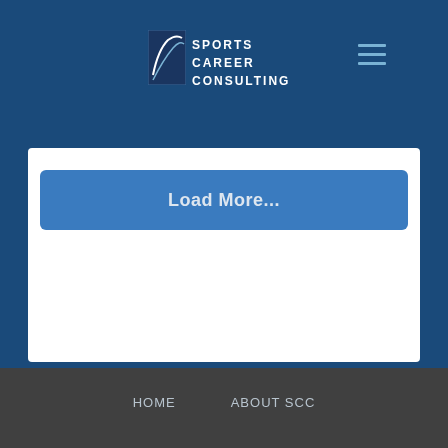Sports Career Consulting
Load More...
HOME   ABOUT SCC